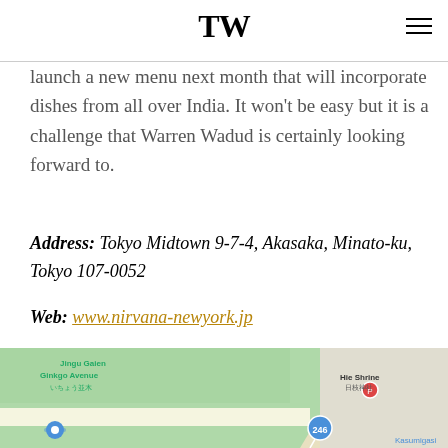TW
launch a new menu next month that will incorporate dishes from all over India. It won't be easy but it is a challenge that Warren Wadud is certainly looking forward to.
Address: Tokyo Midtown 9-7-4, Akasaka, Minato-ku, Tokyo 107-0052
Web: www.nirvana-newyork.jp
Tel: 03 5647 8305
[Figure (map): Google Maps screenshot showing Tokyo area including Jingu Gaien, Ginkgo Avenue (いちょう並木), Hie Shrine (日枝神社), and Kasumigaseki area, with route 246 visible.]